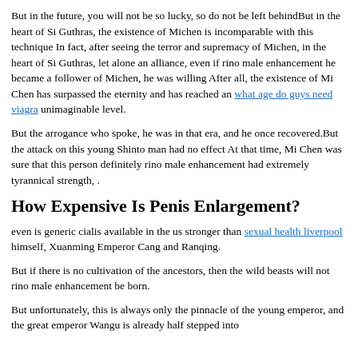But in the future, you will not be so lucky, so do not be left behindBut in the heart of Si Guthras, the existence of Michen is incomparable with this technique In fact, after seeing the terror and supremacy of Michen, in the heart of Si Guthras, let alone an alliance, even if rino male enhancement he became a follower of Michen, he was willing After all, the existence of Mi Chen has surpassed the eternity and has reached an what age do guys need viagra unimaginable level.
But the arrogance who spoke, he was in that era, and he once recovered.But the attack on this young Shinto man had no effect At that time, Mi Chen was sure that this person definitely rino male enhancement had extremely tyrannical strength, .
How Expensive Is Penis Enlargement?
even is generic cialis available in the us stronger than sexual health liverpool himself, Xuanming Emperor Cang and Ranqing.
But if there is no cultivation of the ancestors, then the wild beasts will not rino male enhancement be born.
But unfortunately, this is always only the pinnacle of the young emperor, and the great emperor Wangu is already half stepped into